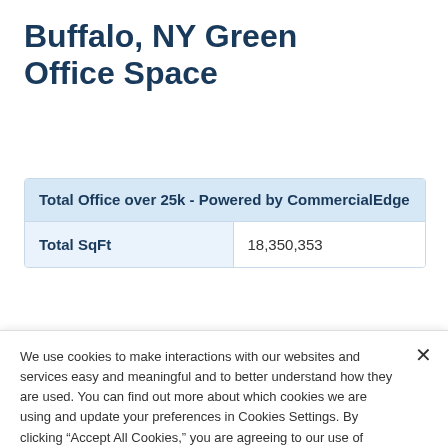Buffalo, NY Green Office Space
|  |  |
| --- | --- |
| Total Office over 25k - Powered by CommercialEdge |  |
| Total SqFt | 18,350,353 |
We use cookies to make interactions with our websites and services easy and meaningful and to better understand how they are used. You can find out more about which cookies we are using and update your preferences in Cookies Settings. By clicking “Accept All Cookies,” you are agreeing to our use of cookies. Cookie Notice.
Cookies Settings
Accept All Cookies